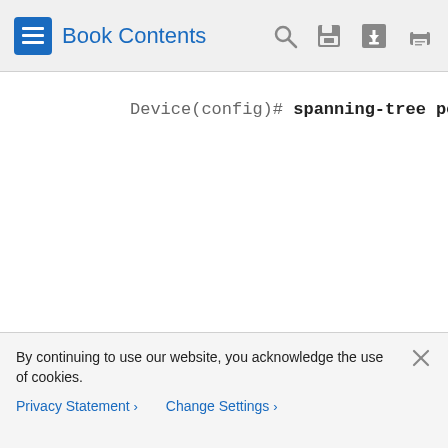Book Contents
Device(config)# spanning-tree portfas
By continuing to use our website, you acknowledge the use of cookies.
Privacy Statement > Change Settings >